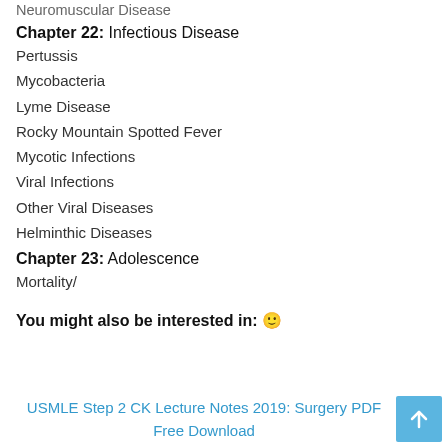Neuromuscular Disease
Chapter 22: Infectious Disease
Pertussis
Mycobacteria
Lyme Disease
Rocky Mountain Spotted Fever
Mycotic Infections
Viral Infections
Other Viral Diseases
Helminthic Diseases
Chapter 23: Adolescence
Mortality/
You might also be interested in: 🙂
USMLE Step 2 CK Lecture Notes 2019: Surgery PDF Free Download